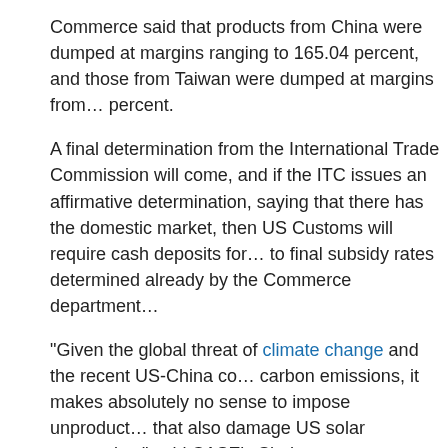Commerce said that products from China were dumped at margins ranging to 165.04 percent, and those from Taiwan were dumped at margins from... percent.
A final determination from the International Trade Commission will come, and if the ITC issues an affirmative determination, saying that there has been harm to the domestic market, then US Customs will require cash deposits for... to final subsidy rates determined already by the Commerce department.
"Given the global threat of climate change and the recent US-China deal on carbon emissions, it makes absolutely no sense to impose unproductive tariffs that also damage US solar companies," said CASE's Shah.
CASE said that companies like Suniva are being put in the "bizarre position" to import duties on a product (photovoltaic cells) they manufactured in America but assembled in China.
"We continue to urge the governments of the US and China to accelerate and preserve free and fair trade in the global solar industry. Affordable solar energy... for the US, China, and the world," Shah said.
Paula Mints, chief market research analyst at SPV Market Research, energy technologies are subsidized" so there's not a normal-functioning...
There is no such thing as a "fair and even playing field," Mints said. "Those potentially be hurt are the buyers of modules. The installers and system developers, they rely on the lowest cost of hardware."